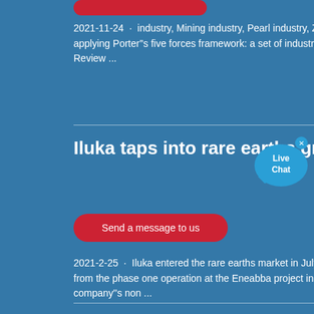[Figure (other): Red rounded button/banner at top, partially visible]
2021-11-24  ·  industry, Mining industry, Pearl industry, Zinc industry, Steel ... (2014). Guidelines for applying Porter''s five forces framework: a set of industry .. analysis templates. Competitiveness Review ...
Iluka taps into rare earths growth
[Figure (other): Live Chat bubble widget with close X button]
Send a message to us
2021-2-25  ·  Iluka entered the rare earths market in July when the company sold its first products from the phase one operation at the Eneabba project in Western Australia. This boosted the company''s non ...